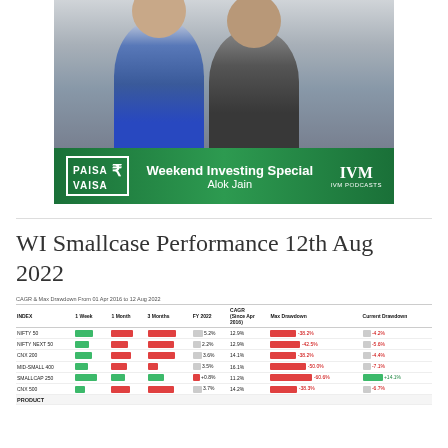[Figure (photo): Two men standing side by side for a photo, with a green banner below reading 'PAISA VAISA - Weekend Investing Special - Alok Jain - IVM PODCASTS']
WI Smallcase Performance 12th Aug 2022
CAGR & Max Drawdown From 01 Apr 2016 to 12 Aug 2022
| INDEX | 1 Week | 1 Month | 3 Months | FY 2022 | CAGR (Since Apr 2016) | Max Drawdown | Current Drawdown |
| --- | --- | --- | --- | --- | --- | --- | --- |
| NIFTY 50 | 1.7% | -10.5% | -12.8% | 5.2% | 12.9% | -38.2% | -4.2% |
| NIFTY NEXT 50 | 1.3% | -8.7% | -12.6% | 2.2% | 12.9% | -42.5% | -5.6% |
| CNX 200 | 1.7% | -10.7% | -12.9% | 3.6% | 14.1% | -38.2% | -4.4% |
| MID-SMALL 400 | 1.3% | -9.2% | -5.7% | 3.5% | 16.1% | -50.0% | -7.1% |
| SMALLCAP 250 | 5.7% | 7.2% | 9.0% | +0.8% | 11.2% | -60.6% | +14.1% |
| CNX 500 | 0.9% | -9.0% | -12.6% | 3.7% | 14.2% | -38.3% | -6.7% |
| PRODUCT |  |  |  |  |  |  |  |